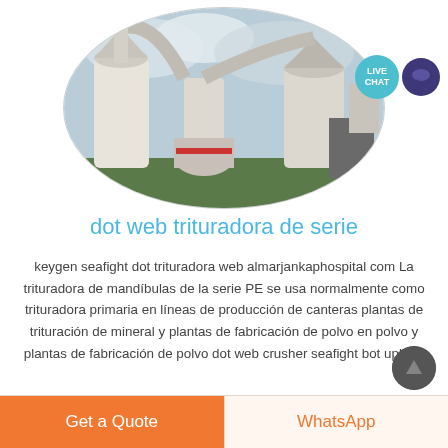[Figure (photo): Industrial grinding/milling plant machinery with silos and conveyors shown in an oval-cropped photo. A 'LIVE CHAT' button overlay is in the top right.]
dot web trituradora de serie
keygen seafight dot trituradora web almarjankaphospital com La trituradora de mandíbulas de la serie PE se usa normalmente como trituradora primaria en líneas de producción de canteras plantas de trituración de mineral y plantas de fabricación de polvo en polvo y plantas de fabricación de polvo dot web crusher seafight bot upload
Get a Quote
WhatsApp